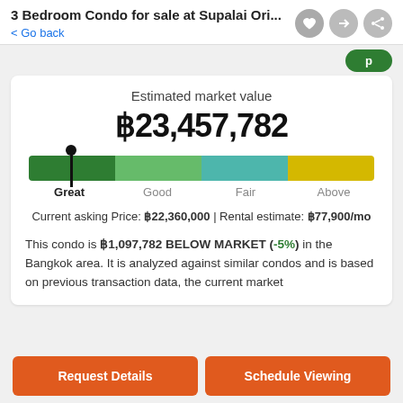3 Bedroom Condo for sale at Supalai Ori...
< Go back
Estimated market value
฿23,457,782
[Figure (infographic): Market value rating bar with four colored segments (Great, Good, Fair, Above) and an indicator arrow pointing to the Great segment]
Current asking Price: ฿22,360,000 | Rental estimate: ฿77,900/mo
This condo is ฿1,097,782 BELOW MARKET (-5%) in the Bangkok area. It is analyzed against similar condos and is based on previous transaction data, the current market
Request Details
Schedule Viewing